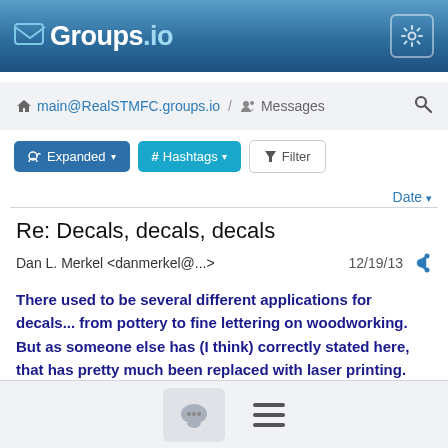Groups.io
main@RealSTMFC.groups.io / Messages
Expanded  # Hashtags  Filter
Date
Re: Decals, decals, decals
Dan L. Merkel <danmerkel@...>  12/19/13
There used to be several different applications for decals... from pottery to fine lettering on woodworking.  But as someone else has (I think) correctly stated here, that has pretty much been replaced with laser printing.